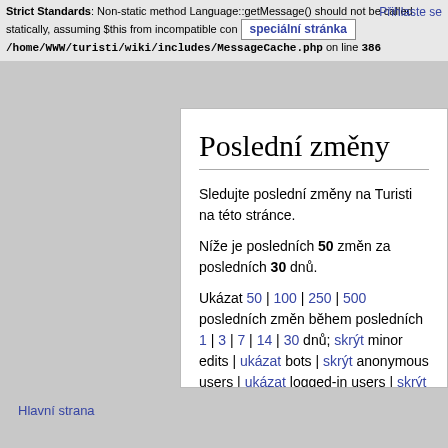Přihlaste se
Strict Standards: Non-static method Language::getMessage() should not be called statically, assuming $this from incompatible con   speciální stránka   /home/WWW/turisti/wiki/includes/MessageCache.php on line 386
Poslední změny
Sledujte poslední změny na Turisti na této stránce.
Níže je posledních 50 změn za posledních 30 dnů.
Ukázat 50 | 100 | 250 | 500 posledních změn během posledních 1 | 3 | 7 | 14 | 30 dnů; skrýt minor edits | ukázat bots | skrýt anonymous users | ukázat logged-in users | skrýt patrolled edits | skrýt my edits.
Ukázat nové změny, počínaje od 19:44, 4. 9. 2022
Jmenný prostor: všechny
Přejit  Obrátit výběr
navigace
Hlavní strana